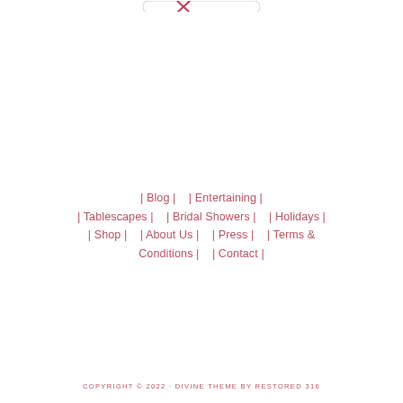[Figure (logo): Partial logo at top center, cropped at top edge]
| Blog |    | Entertaining |
| Tablescapes |    | Bridal Showers |    | Holidays |
| Shop |    | About Us |    | Press |    | Terms & Conditions |    | Contact |
COPYRIGHT © 2022 · DIVINE THEME BY RESTORED 316